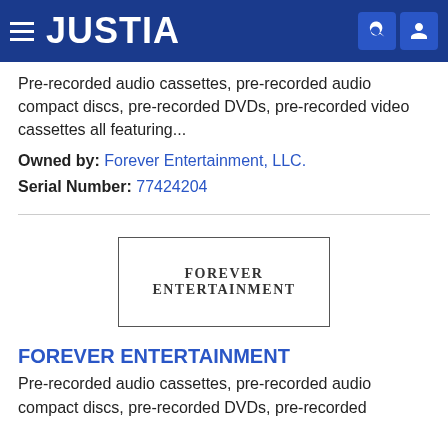JUSTIA
Pre-recorded audio cassettes, pre-recorded audio compact discs, pre-recorded DVDs, pre-recorded video cassettes all featuring...
Owned by: Forever Entertainment, LLC.
Serial Number: 77424204
[Figure (other): Trademark image showing text 'FOREVER ENTERTAINMENT' inside a rectangular border]
FOREVER ENTERTAINMENT
Pre-recorded audio cassettes, pre-recorded audio compact discs, pre-recorded DVDs, pre-recorded